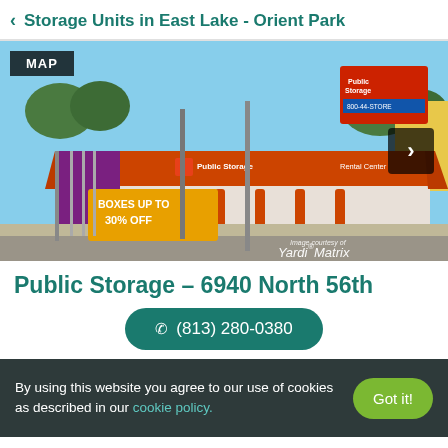< Storage Units in East Lake - Orient Park
[Figure (photo): Exterior photo of a Public Storage Rental Center facility with orange awning/canopy, orange bollards, metal security fence, a yellow banner reading 'BOXES UP TO 30% OFF', and Public Storage signage. Image courtesy of Yardi Matrix watermark visible.]
Public Storage – 6940 North 56th
(813) 280-0380
By using this website you agree to our use of cookies as described in our cookie policy.